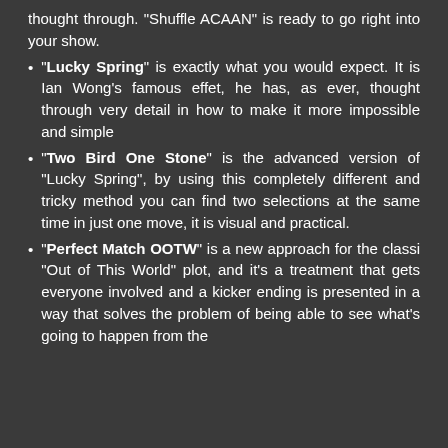thought through. "Shuffle ACAAN" is ready to go right into your show.
"Lucky Spring" is exactly what you would expect. It is Ian Wong's famous effet, he has, as ever, thought through very detail in how to make it more impossible and simple
"Two Bird One Stone" is the advanced version of "Lucky Spring", by using this completely different and tricky method you can find two selections at the same time in just one move, it is visual and practical.
"Perfect Match OOTW" is a new approach for the classi "Out of This World" plot, and it's a treatment that gets everyone involved and a kicker ending is presented in a way that solves the problem of being able to see what's going to happen from the